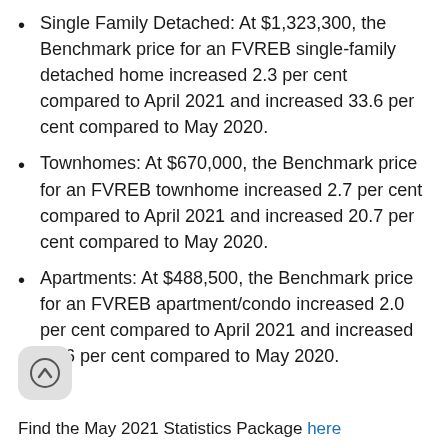Single Family Detached: At $1,323,300, the Benchmark price for an FVREB single-family detached home increased 2.3 per cent compared to April 2021 and increased 33.6 per cent compared to May 2020.
Townhomes: At $670,000, the Benchmark price for an FVREB townhome increased 2.7 per cent compared to April 2021 and increased 20.7 per cent compared to May 2020.
Apartments: At $488,500, the Benchmark price for an FVREB apartment/condo increased 2.0 per cent compared to April 2021 and increased 12.6 per cent compared to May 2020.
[Figure (illustration): Scroll-to-top button icon — a rounded square button with an upward arrow]
Find the May 2021 Statistics Package here